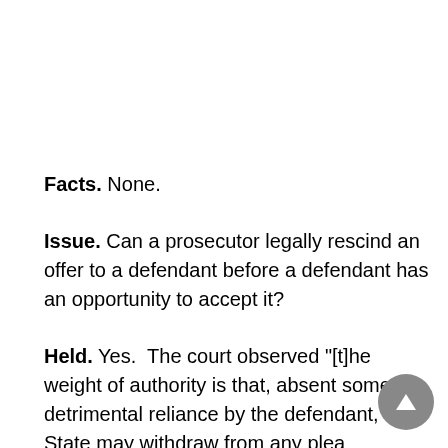Facts. None.
Issue. Can a prosecutor legally rescind an offer to a defendant before a defendant has an opportunity to accept it?
Held. Yes. The court observed "[t]he weight of authority is that, absent some detrimental reliance by the defendant, the State may withdraw from any plea agreement prior to the actual entry of a guilty